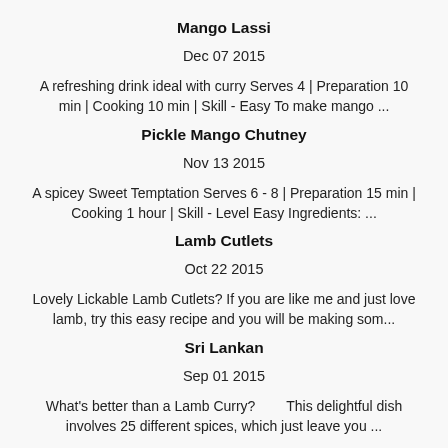Mango Lassi
Dec 07 2015
A refreshing drink ideal with curry Serves 4 | Preparation 10 min | Cooking 10 min | Skill - Easy To make mango ...
Pickle Mango Chutney
Nov 13 2015
A spicey Sweet Temptation Serves 6 - 8 | Preparation 15 min | Cooking 1 hour | Skill - Level Easy Ingredients: ...
Lamb Cutlets
Oct 22 2015
Lovely Lickable Lamb Cutlets? If you are like me and just love lamb, try this easy recipe and you will be making som...
Sri Lankan
Sep 01 2015
What's better than a Lamb Curry?        This delightful dish involves 25 different spices, which just leave you ...
Dahl Soup
Jul 22 2015